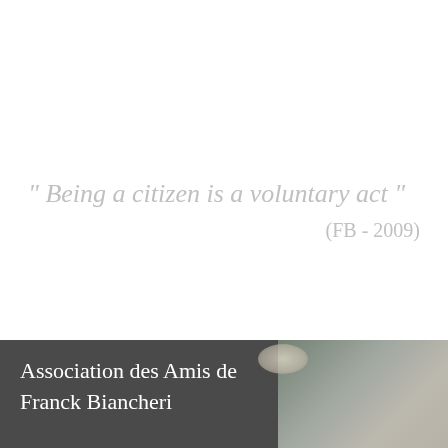" Being a citizen is a voluntary act "
(FB - 2009)
[Figure (other): Banner with dark gray background showing handwritten-style text 'Association des Amis de Franck Biancheri' on the left and a partial photo of a person on the right]